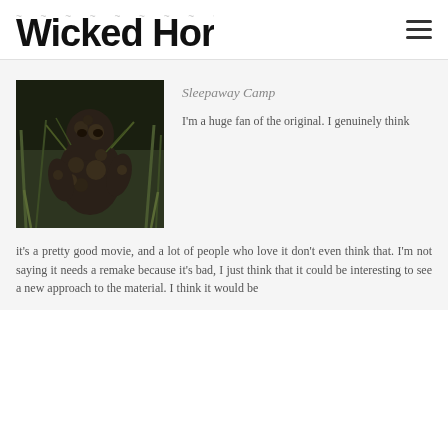Wicked Horror
[Figure (photo): A person or creature covered in dark mud/vegetation camouflage, standing in a grassy/forested area. Still from Sleepaway Camp movie.]
Sleepaway Camp
I'm a huge fan of the original. I genuinely think it's a pretty good movie, and a lot of people who love it don't even think that. I'm not saying it needs a remake because it's bad, I just think that it could be interesting to see a new approach to the material. I think it would be